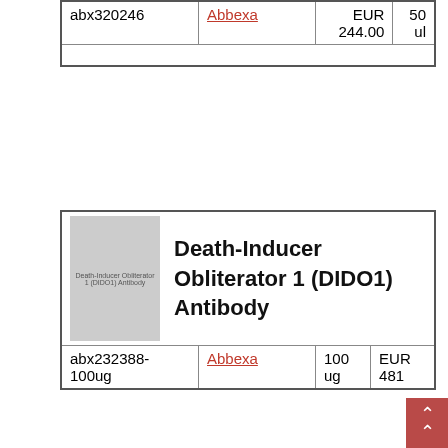| Code | Supplier | Quantity | Price |
| --- | --- | --- | --- |
| abx320246 | Abbexa | EUR 244.00 | 50 ul |
| Product | Supplier | Quantity | Price |
| --- | --- | --- | --- |
| Death-Inducer Obliterator 1 (DIDO1) Antibody |  |  |  |
| abx232388-100ug | Abbexa | 100 ug | EUR 481 |